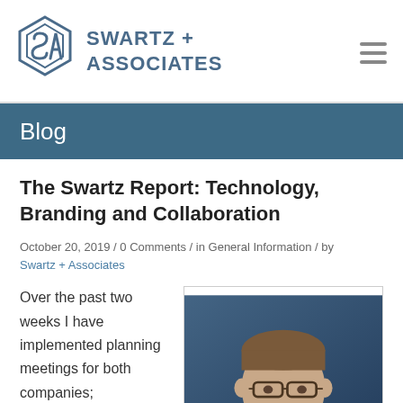SWARTZ + ASSOCIATES
Blog
The Swartz Report: Technology, Branding and Collaboration
October 20, 2019 / 0 Comments / in General Information / by Swartz + Associates
Over the past two weeks I have implemented planning meetings for both companies;
[Figure (photo): Headshot of a man wearing glasses and a suit, smiling, against a dark blue background]